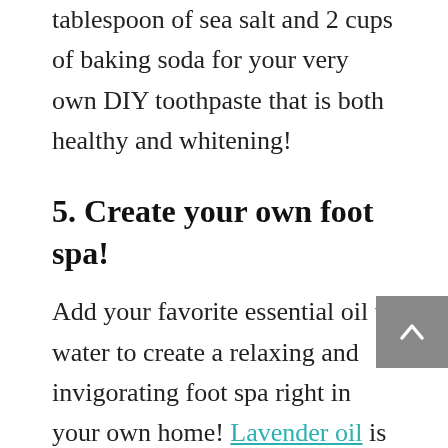tablespoon of sea salt and 2 cups of baking soda for your very own DIY toothpaste that is both healthy and whitening!
5. Create your own foot spa!
Add your favorite essential oil to water to create a relaxing and invigorating foot spa right in your own home! Lavender oil is great for relaxation – highly recommended if you're going for some self-care and relaxation!